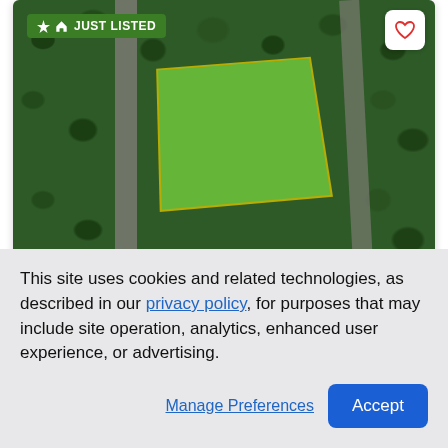[Figure (photo): Aerial satellite view of a green rectangular land lot surrounded by dense forest/trees, with roads visible on left and right sides. 'JUST LISTED' badge in top-left, heart/save button in top-right, price $39,500 in bottom-left.]
SW Ivy Pl
Dunnellon, FL 34431
Lots/Land | Active | Updated 3 days ago
This site uses cookies and related technologies, as described in our privacy policy, for purposes that may include site operation, analytics, enhanced user experience, or advertising.
Manage Preferences  Accept